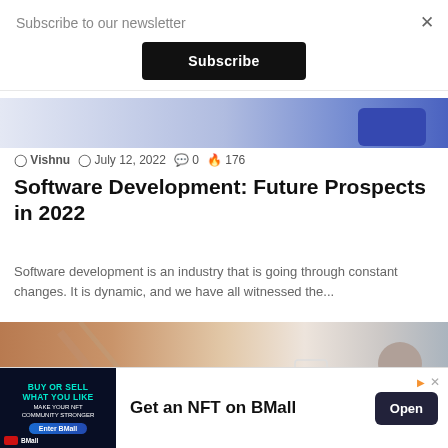Subscribe to our newsletter
Subscribe
[Figure (illustration): Blue decorative gradient bar with a dark blue rounded rectangle at the right end]
Vishnu  July 12, 2022  0  176
Software Development: Future Prospects in 2022
Software development is an industry that is going through constant changes. It is dynamic, and we have all witnessed the...
[Figure (photo): Article header image showing person in brown jacket with face recognition overlay circles and a man in background]
Get an NFT on BMall
Open
BMall